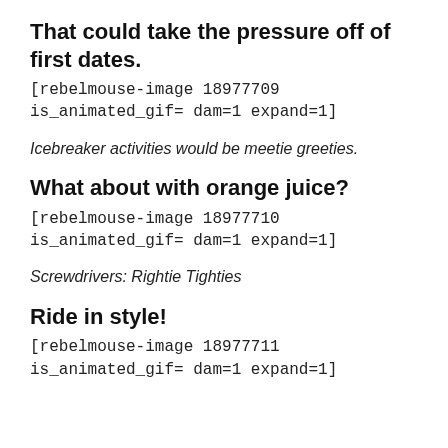That could take the pressure off of first dates.
[rebelmouse-image 18977709 is_animated_gif= dam=1 expand=1]
Icebreaker activities would be meetie greeties.
What about with orange juice?
[rebelmouse-image 18977710 is_animated_gif= dam=1 expand=1]
Screwdrivers: Rightie Tighties
Ride in style!
[rebelmouse-image 18977711 is_animated_gif= dam=1 expand=1]